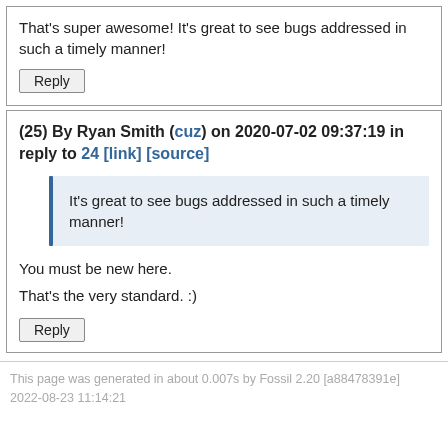That's super awesome! It's great to see bugs addressed in such a timely manner!
Reply
(25) By Ryan Smith (cuz) on 2020-07-02 09:37:19 in reply to 24 [link] [source]
It's great to see bugs addressed in such a timely manner!
You must be new here.
That's the very standard. :)
Reply
This page was generated in about 0.007s by Fossil 2.20 [a88478391e] 2022-08-23 11:14:21